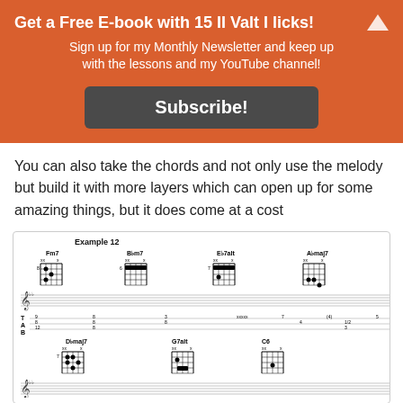Get a Free E-book with 15 II Valt I licks!
Sign up for my Monthly Newsletter and keep up with the lessons and my YouTube channel!
Subscribe!
You can also take the chords and not only use the melody but build it with more layers which can open up for some amazing things, but it does come at a cost
[Figure (illustration): Music sheet labeled Example 12 showing guitar chord diagrams (Fm7, Bbm7, Eb7alt, Abmaj7, Dbmaj7, G7alt, C6) with standard musical notation staff and guitar tablature below.]